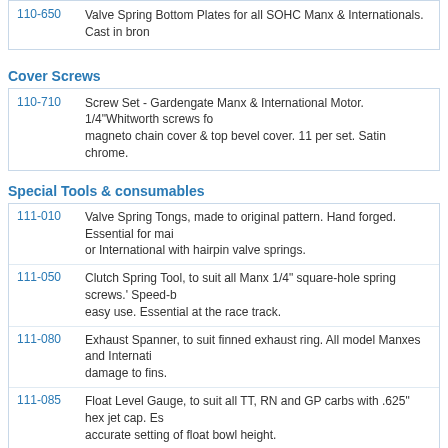110-650 Valve Spring Bottom Plates for all SOHC Manx & Internationals. Cast in bron
Cover Screws
110-710 Screw Set - Gardengate Manx & International Motor. 1/4"Whitworth screws for magneto chain cover & top bevel cover. 11 per set. Satin chrome.
Special Tools & consumables
111-010 Valve Spring Tongs, made to original pattern. Hand forged. Essential for main or International with hairpin valve springs.
111-050 Clutch Spring Tool, to suit all Manx 1/4" square-hole spring screws.' Speed-b easy use. Essential at the race track.
111-080 Exhaust Spanner, to suit finned exhaust ring. All model Manxes and Internati damage to fins.
111-085 Float Level Gauge, to suit all TT, RN and GP carbs with .625" hex jet cap. Es accurate setting of float bowl height.
111-300 Lock Wire Pliers. Small (6") type with self recoiling centre shaft.
111-400 Lock Wire stainless steel aircraft specification. 1lb roll - .020".
111-410 Lock Wire stainless steel aircraft specification. 1lb roll - .025".
111-420 Lock Wire stainless steel aircraft specification. 1lb roll - .032".